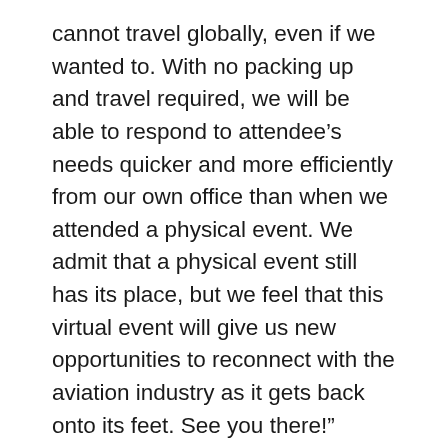cannot travel globally, even if we wanted to. With no packing up and travel required, we will be able to respond to attendee’s needs quicker and more efficiently from our own office than when we attended a physical event. We admit that a physical event still has its place, but we feel that this virtual event will give us new opportunities to reconnect with the aviation industry as it gets back onto its feet. See you there!”
Joining the line-up, L&L Products will showcase its aerospace solutions including FST adhesives range L-9107 / L-9120 and its new L-9060. Patrick Siboni, Key